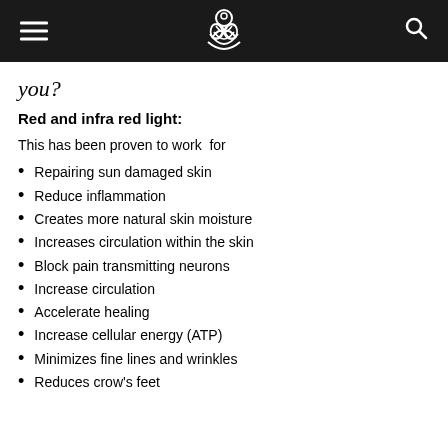[navigation bar with logo, hamburger menu, search icon]
you?
Red and infra red light:
This has been proven to work  for
Repairing sun damaged skin
Reduce inflammation
Creates more natural skin moisture
Increases circulation within the skin
Block pain transmitting neurons
Increase circulation
Accelerate healing
Increase cellular energy (ATP)
Minimizes fine lines and wrinkles
Reduces crow's feet